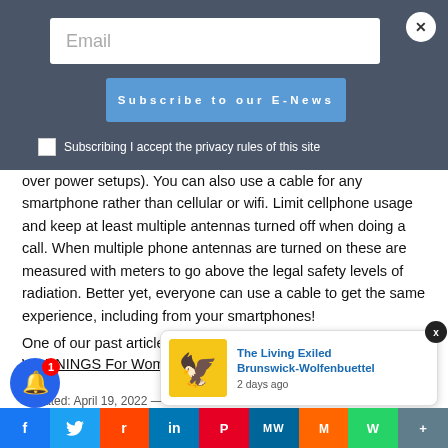[Figure (screenshot): Email subscription modal overlay with dark blue-grey background, white email input field, blue Subscribe to our E-News button, and checkbox for privacy acceptance]
over power setups). You can also use a cable for any smartphone rather than cellular or wifi. Limit cellphone usage and keep at least multiple antennas turned off when doing a call. When multiple phone antennas are turned on these are measured with meters to go above the legal safety levels of radiation. Better yet, everyone can use a cable to get the same experience, including from your smartphones!
One of our past articles you may be interested in: WIFI WARNINGS For Women and Children! Simple Solutions!
Updated: April 19, 2022 — 5:53 am
Tags: 5g destroying ozone layer, 5g destroying the ozone layer, 5g health risks, 5g roo… frequency, newslet… destroy oz…
[Figure (screenshot): The Living Exiled Brunswick-Wolfenbuettel notification popup with eagle logo, shown 2 days ago]
[Figure (screenshot): Social sharing bar with Facebook, Twitter, Reddit, LinkedIn, Pinterest, MeWe, Mix, WhatsApp, and More buttons]